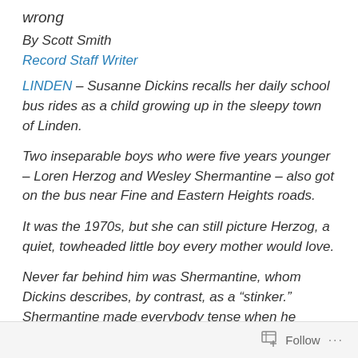wrong
By Scott Smith
Record Staff Writer
LINDEN – Susanne Dickins recalls her daily school bus rides as a child growing up in the sleepy town of Linden.
Two inseparable boys who were five years younger – Loren Herzog and Wesley Shermantine – also got on the bus near Fine and Eastern Heights roads.
It was the 1970s, but she can still picture Herzog, a quiet, towheaded little boy every mother would love.
Never far behind him was Shermantine, whom Dickins describes, by contrast, as a “stinker.” Shermantine made everybody tense when he stepped onboard the bus.
Follow ...